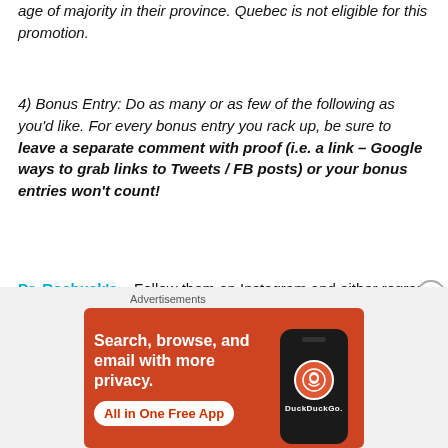age of majority in their province. Quebec is not eligible for this promotion.
4) Bonus Entry: Do as many or as few of the following as you'd like. For every bonus entry you rack up, be sure to leave a separate comment with proof (i.e. a link – Google ways to grab links to Tweets / FB posts) or your bonus entries won't count!
Dr. Roebuck's – Follow them on Instagram and either regram one of their photos or share a photo of the after shave to your own feed. Be sure to tag them either way,
[Figure (other): DuckDuckGo advertisement banner: orange background with text 'Search, browse, and email with more privacy.' and button 'All in One Free App', with a phone showing DuckDuckGo logo]